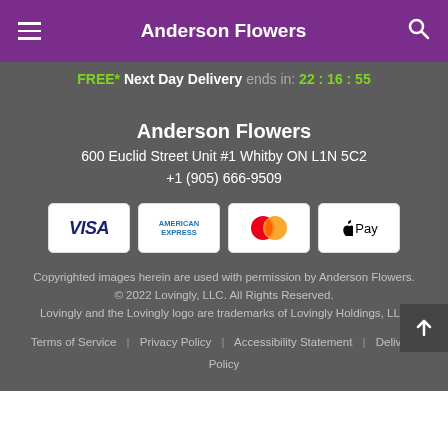Anderson Flowers
FREE* Next Day Delivery ends in: 22:16:55
Anderson Flowers
600 Euclid Street Unit #1 Whitby ON L1N 5C2
+1 (905) 666-9509
[Figure (other): Payment method icons: VISA, American Express, Mastercard, Apple Pay]
Copyrighted images herein are used with permission by Anderson Flowers. © 2022 Lovingly, LLC. All Rights Reserved. Lovingly and the Lovingly logo are trademarks of Lovingly Holdings, LLC
Terms of Service | Privacy Policy | Accessibility Statement | Delivery Policy